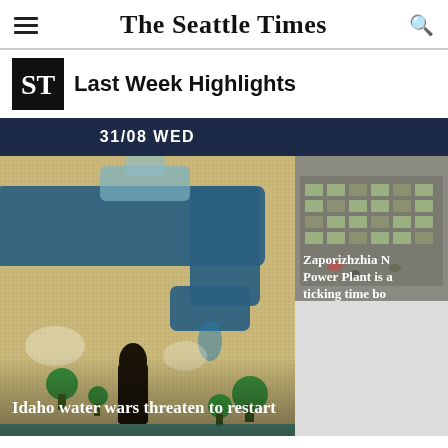The Seattle Times
Last Week Highlights
31/08 WED
[Figure (illustration): Illustrated scene showing a large blue water faucet/tap shape over a sandy yellow textured background with small green trees and a dark figure below]
Idaho water wars threaten to restart
[Figure (photo): Aerial or angled photo of an industrial building, possibly the Zaporizhzhia Nuclear Power Plant]
Zaporizhzhia Nuclear Power Plant is a ticking time bo